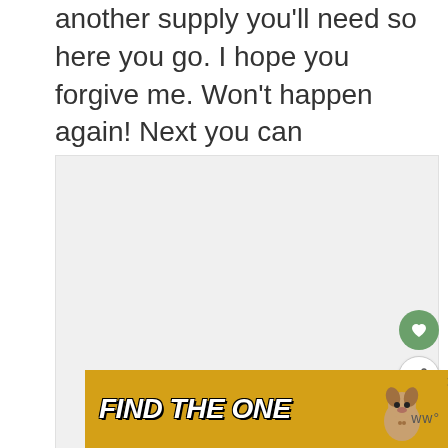another supply you'll need so here you go. I hope you forgive me. Won't happen again! Next you can assemble the top of the gumball machine. Cut out a 2 3/4" circle.
[Figure (other): Large light gray image placeholder area with UI overlay buttons (heart/favorite button in green circle, share button in white circle, and up arrow button). Part of a crafting tutorial webpage.]
[Figure (infographic): Advertisement banner with golden/yellow background reading 'FIND THE ONE' in bold white italic text with an image of a dog on the right side and a close button (x) in the upper right corner.]